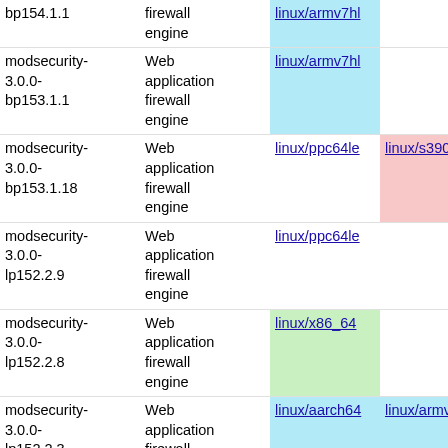| Package | Description | Link1 | Link2 | Link3 |
| --- | --- | --- | --- | --- |
| bp154.1.1 | firewall engine | linux/armv7hl |  |  |
| modsecurity-3.0.0-bp153.1.1 | Web application firewall engine | linux/armv7hl |  |  |
| modsecurity-3.0.0-bp153.1.18 | Web application firewall engine | linux/ppc64le | linux/s390x | linux/x86_64 |
| modsecurity-3.0.0-lp152.2.9 | Web application firewall engine | linux/ppc64le |  |  |
| modsecurity-3.0.0-lp152.2.8 | Web application firewall engine | linux/x86_64 |  |  |
| modsecurity-3.0.0-lp152.2.3 | Web application firewall engine | linux/aarch64 | linux/armv7hl |  |
| mozilla-nss-certs-3.81- | CA certificates | linux/i586 NEW | linux/s390x NEW | linux/x86_64 NEW |